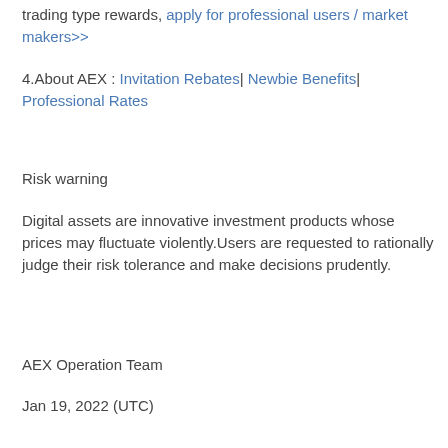trading type rewards, apply for professional users / market makers>>
4.About AEX : Invitation Rebates| Newbie Benefits| Professional Rates
Risk warning
Digital assets are innovative investment products whose prices may fluctuate violently.Users are requested to rationally judge their risk tolerance and make decisions prudently.
AEX Operation Team
Jan 19, 2022 (UTC)